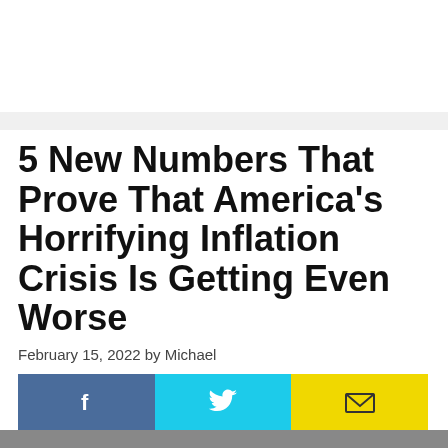5 New Numbers That Prove That America's Horrifying Inflation Crisis Is Getting Even Worse
February 15, 2022 by Michael
[Figure (other): Social share buttons: Facebook (blue), Twitter (cyan), Email (yellow)]